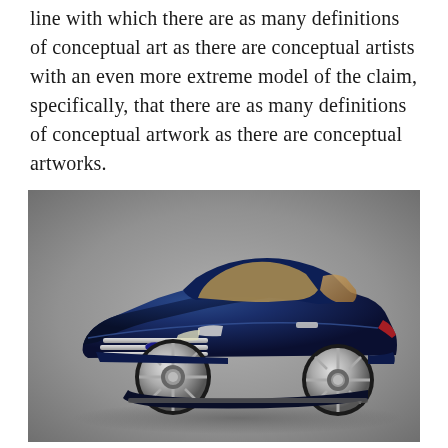line with which there are as many definitions of conceptual art as there are conceptual artists with an even more extreme model of the claim, specifically, that there are as many definitions of conceptual artwork as there are conceptual artworks.
[Figure (photo): A dark navy blue concept car (sedan/coupe style) photographed in three-quarter front view against a neutral grey gradient background. The car features chrome grille details, large silver alloy wheels, and a sleek muscular body with a long hood.]